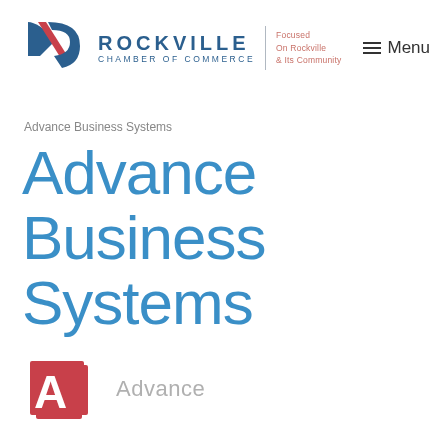[Figure (logo): Rockville Chamber of Commerce logo with stylized R mark, organization name, tagline 'Focused On Rockville & Its Community', and Menu button]
Advance Business Systems
Advance Business Systems
[Figure (logo): Advance Business Systems company logo: red square with white letter A and stacked red cards behind, with gray text 'Advance' beside it]